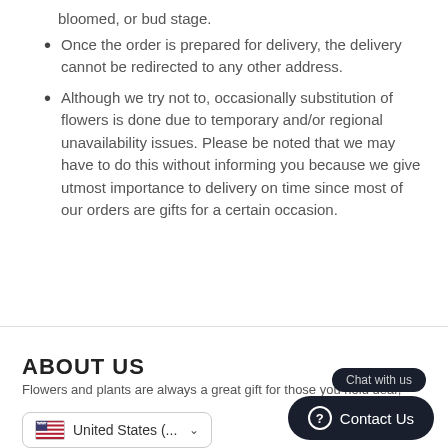bloomed, or bud stage.
Once the order is prepared for delivery, the delivery cannot be redirected to any other address.
Although we try not to, occasionally substitution of flowers is done due to temporary and/or regional unavailability issues. Please be noted that we may have to do this without informing you because we give utmost importance to delivery on time since most of our orders are gifts for a certain occasion.
ABOUT US
Flowers and plants are always a great gift for those you hold dear,